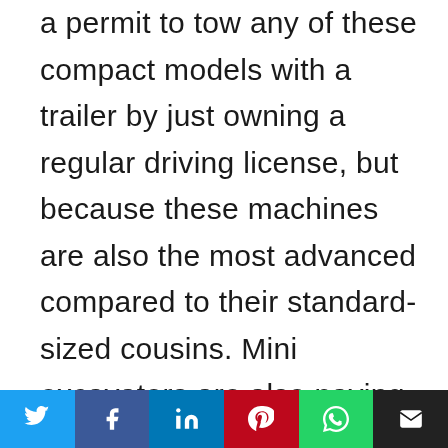a permit to tow any of these compact models with a trailer by just owning a regular driving license, but because these machines are also the most advanced compared to their standard-sized cousins. Mini excavators are also paving the way for remote monitoring technology and based on the facts presented in the White Paper, remote monitoring is set to play a crucial role within the scope of the compact construction equipment segment from which, mini excavators are the biggest
Social share bar: Twitter, Facebook, LinkedIn, Pinterest, WhatsApp, Email